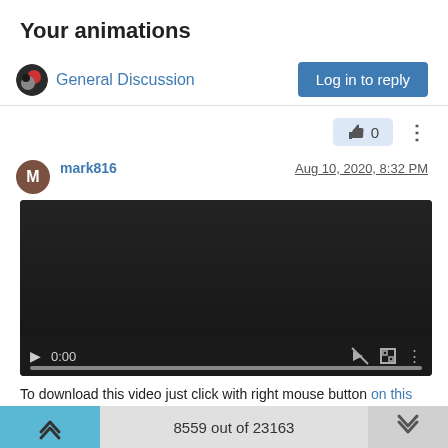Your animations
General Discussion
Log in to reply
0
mark816
Aug 10, 2020, 8:32 PM
[Figure (screenshot): Embedded video player with dark background showing time 0:00 and playback controls]
To download this video just click with right mouse button on this link and select "Save link as..."
8559 out of 23163